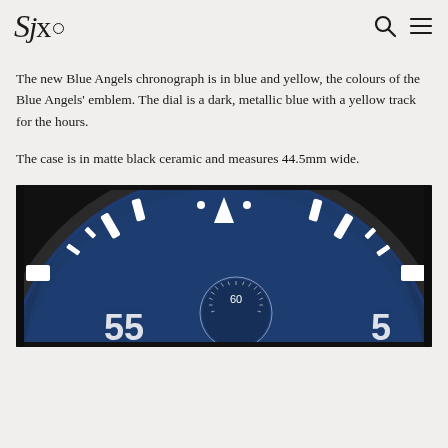SJx. [logo with search and menu icons]
The new Blue Angels chronograph is in blue and yellow, the colours of the Blue Angels' emblem. The dial is a dark, metallic blue with a yellow track for the hours.
The case is in matte black ceramic and measures 44.5mm wide.
[Figure (photo): Close-up photo of a watch dial showing blue metallic surface with white hour markers, white triangle at 12 o'clock, and a seconds subdial showing the number 60, with black ceramic bezel visible]